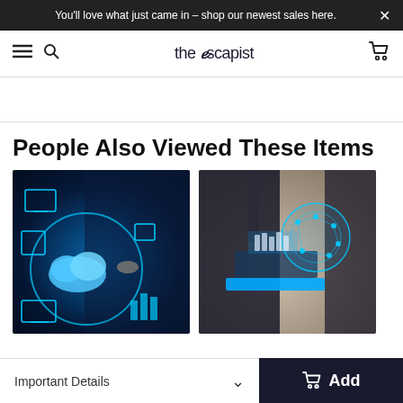You'll love what just came in – shop our newest sales here.
the escapist — navigation bar with hamburger, search, and cart icons
People Also Viewed These Items
[Figure (photo): Technology concept photo: person in dark suit touching a holographic display with cloud icon, monitor icons, and glowing blue circuit elements]
[Figure (photo): Technology concept photo: businessman in suit holding a tablet with holographic global network visualization emerging from a laptop]
Important Details
Add